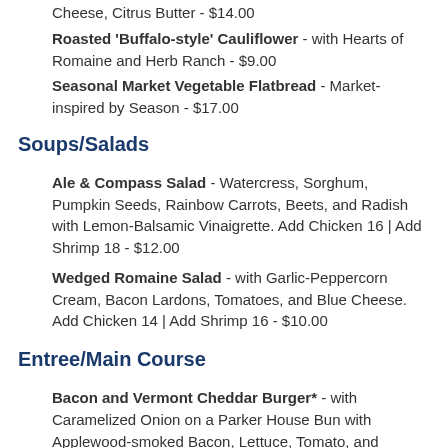Cheese, Citrus Butter - $14.00
Roasted 'Buffalo-style' Cauliflower - with Hearts of Romaine and Herb Ranch - $9.00
Seasonal Market Vegetable Flatbread - Market-inspired by Season - $17.00
Soups/Salads
Ale & Compass Salad - Watercress, Sorghum, Pumpkin Seeds, Rainbow Carrots, Beets, and Radish with Lemon-Balsamic Vinaigrette. Add Chicken 16 | Add Shrimp 18 - $12.00
Wedged Romaine Salad - with Garlic-Peppercorn Cream, Bacon Lardons, Tomatoes, and Blue Cheese. Add Chicken 14 | Add Shrimp 16 - $10.00
Entree/Main Course
Bacon and Vermont Cheddar Burger* - with Caramelized Onion on a Parker House Bun with Applewood-smoked Bacon, Lettuce, Tomato, and Herbed Mayonnaise - $20.00